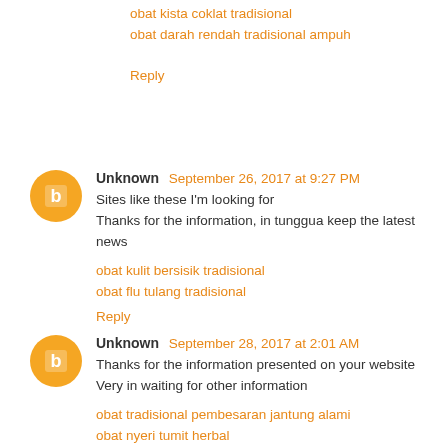obat kista coklat tradisional
obat darah rendah tradisional ampuh
Reply
Unknown September 26, 2017 at 9:27 PM
Sites like these I'm looking for
Thanks for the information, in tunggua keep the latest news
obat kulit bersisik tradisional
obat flu tulang tradisional
Reply
Unknown September 28, 2017 at 2:01 AM
Thanks for the information presented on your website
Very in waiting for other information
obat tradisional pembesaran jantung alami
obat nyeri tumit herbal